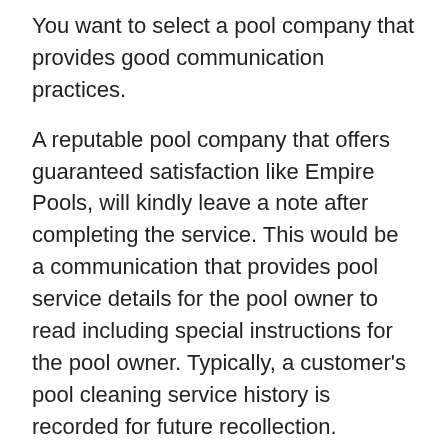You want to select a pool company that provides good communication practices.
A reputable pool company that offers guaranteed satisfaction like Empire Pools, will kindly leave a note after completing the service. This would be a communication that provides pool service details for the pool owner to read including special instructions for the pool owner. Typically, a customer's pool cleaning service history is recorded for future recollection.
Empire Pools is a Top Pool Cleaning Service Near Me in a Pine Neck, NY
Pool owners in Pine Neck, NY may hire different pool companies but agree on one